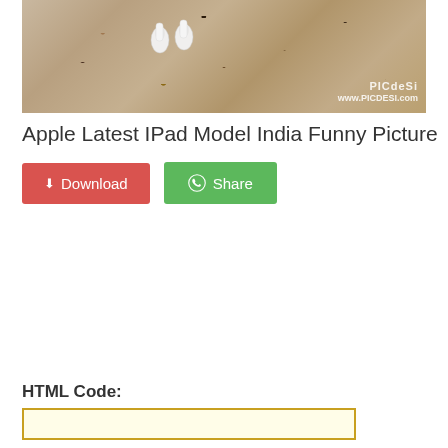[Figure (photo): Photo of Apple AirPods/earbuds on a granite stone surface, with PicDesi watermark in the bottom right corner]
Apple Latest IPad Model India Funny Picture
⬇ Download
Share
HTML Code: